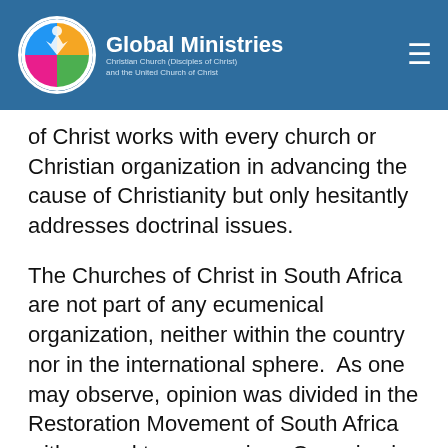Global Ministries — Christian Church (Disciples of Christ) and the United Church of Christ
of Christ works with every church or Christian organization in advancing the cause of Christianity but only hesitantly addresses doctrinal issues.
The Churches of Christ in South Africa are not part of any ecumenical organization, neither within the country nor in the international sphere.  As one may observe, opinion was divided in the Restoration Movement of South Africa with regard to ecumenism. One wing is for the ecumenical movement, while the other